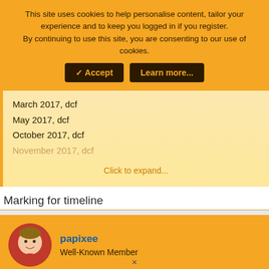This site uses cookies to help personalise content, tailor your experience and to keep you logged in if you register. By continuing to use this site, you are consenting to our use of cookies.
March 2017, dcf
May 2017, dcf
October 2017, dcf
November 2017, dcf
Click to expand...
Marking for timeline
papixee
Well-Known Member